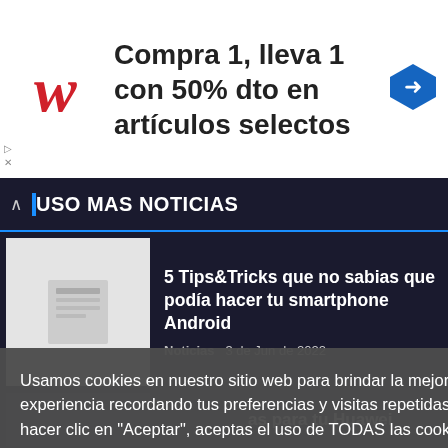[Figure (infographic): Walgreens advertisement banner: logo on left, text 'Compra 1, lleva 1 con 50% dto en artículos selectos', navigation arrow icon on right]
USO MAS NOTICIAS
5 Tips&Tricks que no sabias que podía hacer tu smartphone Android
Noticias   3 de Jun de 2022
as para tu Huawei
Usamos cookies en nuestro sitio web para brindar la mejor experiencia recordando tus preferencias y visitas repetidas. Al hacer clic en "Aceptar", aceptas el uso de TODAS las cookies.
No vender mi información personal
Ajuste de Cookies   Acepto